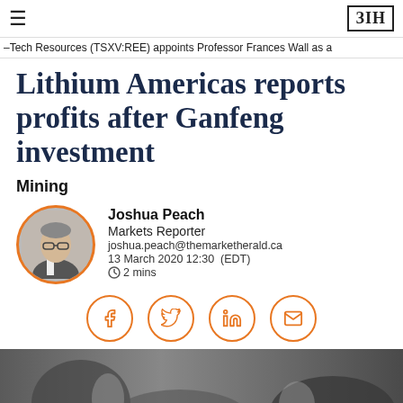≡  ЗІН
–Tech Resources (TSXV:REE) appoints Professor Frances Wall as a
Lithium Americas reports profits after Ganfeng investment
Mining
Joshua Peach
Markets Reporter
joshua.peach@themarketherald.ca
13 March 2020 12:30  (EDT)
⏱2 mins
[Figure (illustration): Circular author headshot of Joshua Peach with orange border, showing a man in a suit]
[Figure (illustration): Social share buttons row: Facebook, Twitter, LinkedIn, Email — each in orange-bordered circles]
[Figure (photo): Photo of business people at a meeting table, hands visible, dark tones, grayscale/muted]